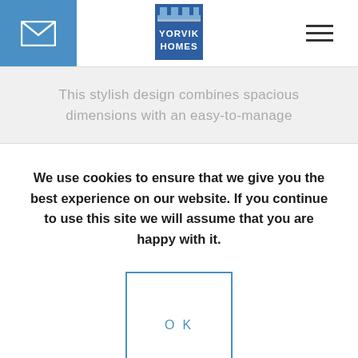[Figure (logo): Yorvik Homes logo with castle battlements above text YORVIK HOMES on blue background]
This stylish design combines spacious dimensions with an easy-to-manage
We use cookies to ensure that we give you the best experience on our website. If you continue to use this site we will assume that you are happy with it.
OK